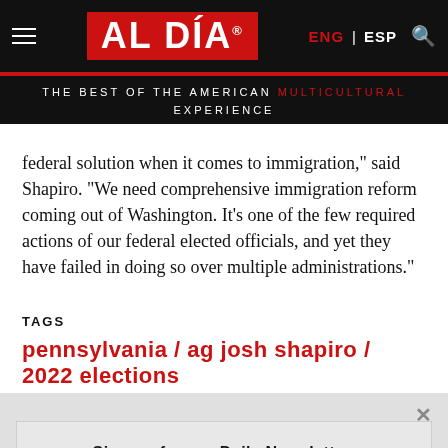AL DÍA | THE BEST OF THE AMERICAN MULTICULTURAL EXPERIENCE
federal solution when it comes to immigration," said Shapiro. "We need comprehensive immigration reform coming out of Washington. It's one of the few required actions of our federal elected officials, and yet they have failed in doing so over multiple administrations."
TAGS
pennsylvania / ag josh shapiro / 2022 elections
Sign up for our Daily Newsletter.